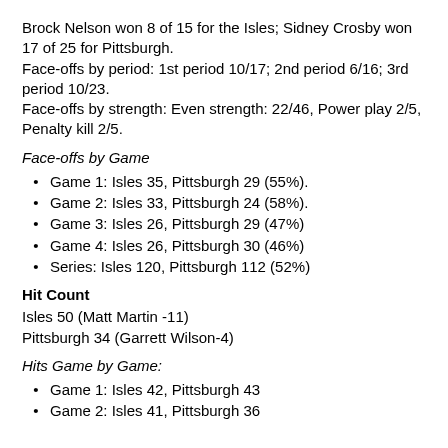Brock Nelson won 8 of 15 for the Isles; Sidney Crosby won 17 of 25 for Pittsburgh.
Face-offs by period: 1st period 10/17; 2nd period 6/16; 3rd period 10/23.
Face-offs by strength: Even strength: 22/46, Power play 2/5, Penalty kill 2/5.
Face-offs by Game
Game 1: Isles 35, Pittsburgh 29 (55%).
Game 2: Isles 33, Pittsburgh 24 (58%).
Game 3: Isles 26, Pittsburgh 29 (47%)
Game 4: Isles 26, Pittsburgh 30 (46%)
Series: Isles 120, Pittsburgh 112 (52%)
Hit Count
Isles 50 (Matt Martin -11)
Pittsburgh 34 (Garrett Wilson-4)
Hits Game by Game:
Game 1: Isles 42, Pittsburgh 43
Game 2: Isles 41, Pittsburgh 36